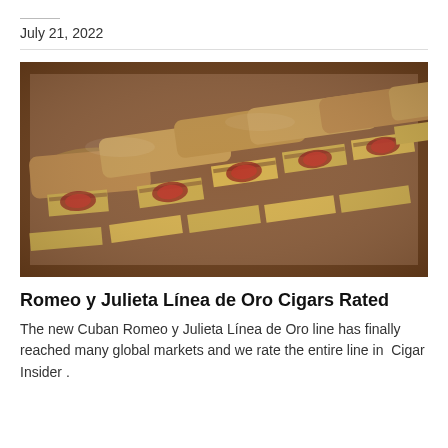July 21, 2022
[Figure (photo): Close-up photograph of Romeo y Julieta cigars with gold bands laid in a wooden humidor box, viewed from above.]
Romeo y Julieta Línea de Oro Cigars Rated
The new Cuban Romeo y Julieta Línea de Oro line has finally reached many global markets and we rate the entire line in  Cigar Insider .